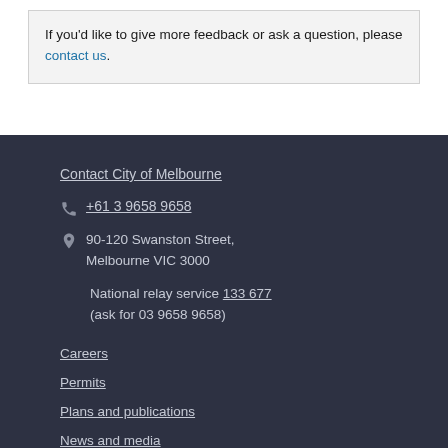If you'd like to give more feedback or ask a question, please contact us.
Contact City of Melbourne
+61 3 9658 9658
90-120 Swanston Street, Melbourne VIC 3000
National relay service 133 677 (ask for 03 9658 9658)
Careers
Permits
Plans and publications
News and media